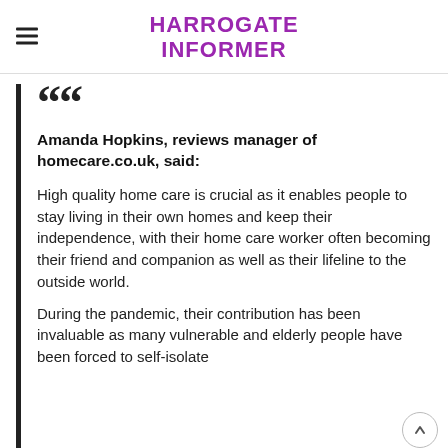HARROGATE INFORMER
Amanda Hopkins, reviews manager of homecare.co.uk, said:
High quality home care is crucial as it enables people to stay living in their own homes and keep their independence, with their home care worker often becoming their friend and companion as well as their lifeline to the outside world.
During the pandemic, their contribution has been invaluable as many vulnerable and elderly people have been forced to self-isolate